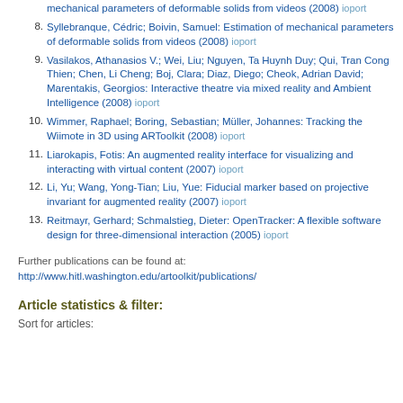8. Syllebranque, Cédric; Boivin, Samuel: Estimation of mechanical parameters of deformable solids from videos (2008) ioport
9. Vasilakos, Athanasios V.; Wei, Liu; Nguyen, Ta Huynh Duy; Qui, Tran Cong Thien; Chen, Li Cheng; Boj, Clara; Diaz, Diego; Cheok, Adrian David; Marentakis, Georgios: Interactive theatre via mixed reality and Ambient Intelligence (2008) ioport
10. Wimmer, Raphael; Boring, Sebastian; Müller, Johannes: Tracking the Wiimote in 3D using ARToolkit (2008) ioport
11. Liarokapis, Fotis: An augmented reality interface for visualizing and interacting with virtual content (2007) ioport
12. Li, Yu; Wang, Yong-Tian; Liu, Yue: Fiducial marker based on projective invariant for augmented reality (2007) ioport
13. Reitmayr, Gerhard; Schmalstieg, Dieter: OpenTracker: A flexible software design for three-dimensional interaction (2005) ioport
Further publications can be found at:
http://www.hitl.washington.edu/artoolkit/publications/
Article statistics & filter:
Sort for articles: